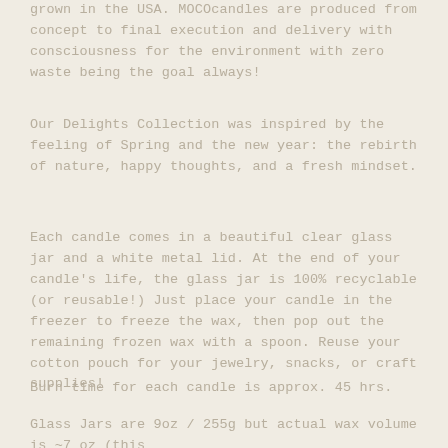grown in the USA. MOCOcandles are produced from concept to final execution and delivery with consciousness for the environment with zero waste being the goal always!
Our Delights Collection was inspired by the feeling of Spring and the new year: the rebirth of nature, happy thoughts, and a fresh mindset.
Each candle comes in a beautiful clear glass jar and a white metal lid. At the end of your candle’s life, the glass jar is 100% recyclable (or reusable!) Just place your candle in the freezer to freeze the wax, then pop out the remaining frozen wax with a spoon. Reuse your cotton pouch for your jewelry, snacks, or craft supplies!
Burn time for each candle is approx. 45 hrs.
Glass Jars are 9oz / 255g but actual wax volume is ~7 oz (this